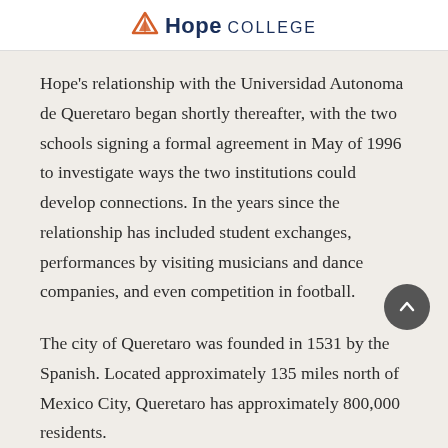Hope COLLEGE
Hope's relationship with the Universidad Autonoma de Queretaro began shortly thereafter, with the two schools signing a formal agreement in May of 1996 to investigate ways the two institutions could develop connections. In the years since the relationship has included student exchanges, performances by visiting musicians and dance companies, and even competition in football.
The city of Queretaro was founded in 1531 by the Spanish. Located approximately 135 miles north of Mexico City, Queretaro has approximately 800,000 residents.